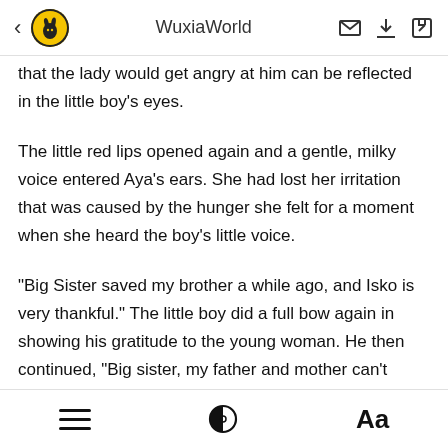WuxiaWorld
that the lady would get angry at him can be reflected in the little boy's eyes.
The little red lips opened again and a gentle, milky voice entered Aya's ears. She had lost her irritation that was caused by the hunger she felt for a moment when she heard the boy's little voice.
"Big Sister saved my brother a while ago, and Isko is very thankful." The little boy did a full bow again in showing his gratitude to the young woman. He then continued, "Big sister, my father and mother can't come with Isko. My
≡  ◑  Aa